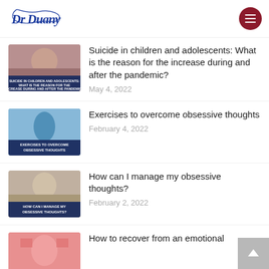Dr Duany
[Figure (photo): Woman looking distressed, leaning on hands, with dark blue overlay banner reading: SUICIDE IN CHILDREN AND ADOLESCENTS: WHAT IS THE REASON FOR THE INCREASE DURING AND AFTER THE PANDEMIC?]
Suicide in children and adolescents: What is the reason for the increase during and after the pandemic?
May 4, 2022
[Figure (photo): Person jumping joyfully outdoors with blue sky, dark blue overlay banner reading: EXERCISES TO OVERCOME OBSESSIVE THOUGHTS]
Exercises to overcome obsessive thoughts
February 4, 2022
[Figure (photo): Woman with glasses looking thoughtful, dark blue overlay banner reading: HOW CAN I MANAGE MY OBSESSIVE THOUGHTS?]
How can I manage my obsessive thoughts?
February 2, 2022
[Figure (photo): Person with hands on head, pink/red toned image]
How to recover from an emotional